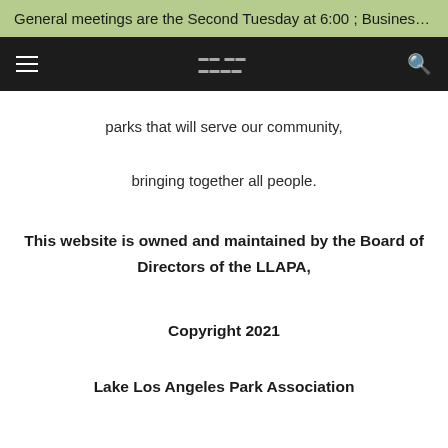General meetings are the Second Tuesday at 6:00 ; Business Me...
parks that will serve our community,

bringing together all people.
This website is owned and maintained by the Board of Directors of the LLAPA,
Copyright 2021

Lake Los Angeles Park Association